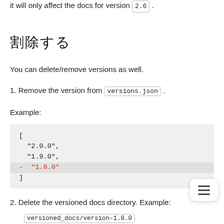it will only affect the docs for version 2.6 .
削除する
You can delete/remove versions as well.
1. Remove the version from versions.json .
Example:
[Figure (other): Code block showing a JSON array with versions 2.0.0, 1.9.0, and a highlighted deletion line showing - "1.8.0"]
2. Delete the versioned docs directory. Example:
versioned_docs/version-1.8.0